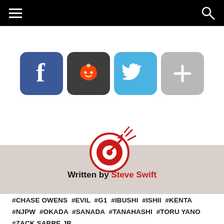Navigation bar with hamburger menu and search icon
[Figure (other): Social sharing buttons: Facebook (blue), Reddit (dark grey), Twitter (light blue), Plus/More (grey)]
[Figure (logo): Target/bullseye logo with arrow and motion lines in red]
Written by Steve Swift
#CHASE OWENS #EVIL #G1 #IBUSHI #ISHII #KENTA #NJPW #OKADA #SANADA #TANAHASHI #TORU YANO #ZACK SABRE JR